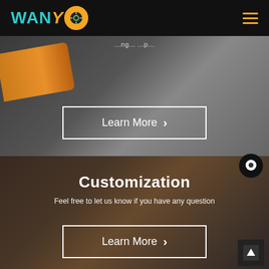WANYO logo and navigation header
[Figure (photo): Industrial machine/manufacturing equipment scene with orange robotic arm, dark background]
Learn More >
[Figure (photo): Business team meeting scene, people around a table with a bulletin board in the background]
Customization
Feel free to let us know if you have any question
Learn More >